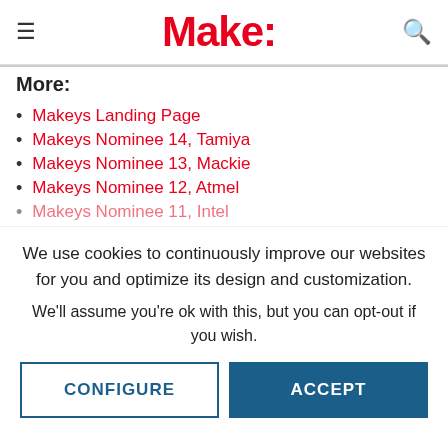Make:
More:
Makeys Landing Page
Makeys Nominee 14, Tamiya
Makeys Nominee 13, Mackie
Makeys Nominee 12, Atmel
Makeys Nominee 11, Intel
We use cookies to continuously improve our websites for you and optimize its design and customization.
We'll assume you're ok with this, but you can opt-out if you wish.
CONFIGURE | ACCEPT